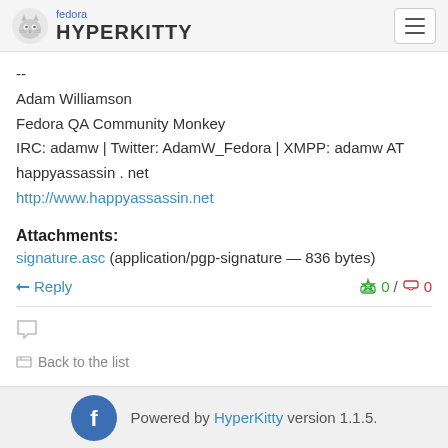fedora HYPERKITTY
--
Adam Williamson
Fedora QA Community Monkey
IRC: adamw | Twitter: AdamW_Fedora | XMPP: adamw AT happyassassin . net
http://www.happyassassin.net
Attachments:
signature.asc (application/pgp-signature — 836 bytes)
↩ Reply   0 / 0
Back to the list
Powered by HyperKitty version 1.1.5.